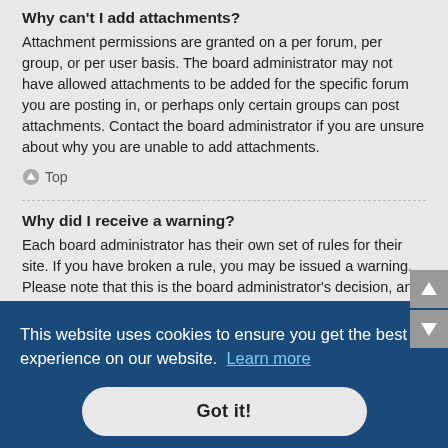Why can't I add attachments?
Attachment permissions are granted on a per forum, per group, or per user basis. The board administrator may not have allowed attachments to be added for the specific forum you are posting in, or perhaps only certain groups can post attachments. Contact the board administrator if you are unsure about why you are unable to add attachments.
Top
Why did I receive a warning?
Each board administrator has their own set of rules for their site. If you have broken a rule, you may be issued a warning. Please note that this is the board administrator's decision, and the phpBB Limited has nothing to do with the warnings are
This website uses cookies to ensure you get the best experience on our website. Learn more
Got it!